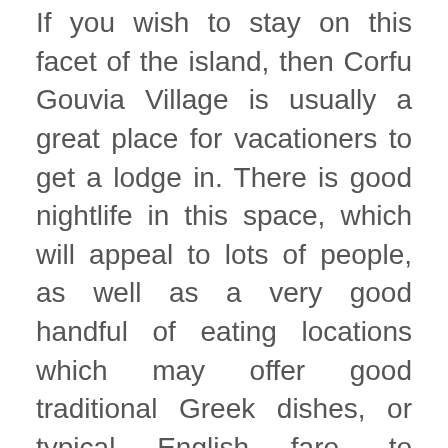If you wish to stay on this facet of the island, then Corfu Gouvia Village is usually a great place for vacationers to get a lodge in. There is good nightlife in this space, which will appeal to lots of people, as well as a very good handful of eating locations which may offer good traditional Greek dishes, or typical English fare, to vacationers, relying on the place you choose to go. The taverns of the world could be pretty though. Within the day, Gouvia seaside is somewhere you might need to set out for. The closest beach to the village, it provides sunbathing and the standard seashore vacation activities that you would be able to anticipate from islands catering to tourists, as Corfu does.
The historic websites of the nation will entertain the vacationers with a colorful selection. Remember to